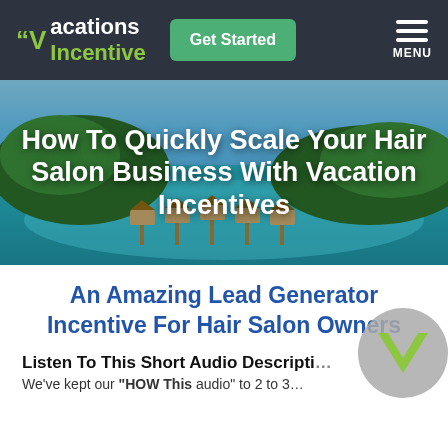Vacations Incentive | Get Started | MENU
[Figure (photo): Tropical beach scene with overwater bungalows and lush green islands, turquoise water. Overlaid with white bold text: 'How To Quickly Scale Your Hair Salon Business With Vacation Incentives']
How To Quickly Scale Your Hair Salon Business With Vacation Incentives
An Amazing Lead Generator Incentive For Hair Salon Owners
Listen To This Short Audio Description...
We've kept our "HOW This audio" to 2 to 3...